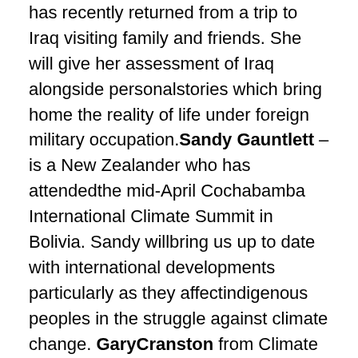has recently returned from a trip to Iraq visiting family and friends. She will give her assessment of Iraq alongside personalstories which bring home the reality of life under foreign military occupation. Sandy Gauntlett – is a New Zealander who has attendedthe mid-April Cochabamba International Climate Summit in Bolivia. Sandy willbring us up to date with international developments particularly as they affectindigenous peoples in the struggle against climate change. GaryCranston from Climate Camp will talk about local action to challengethe powerful vested interests working for big business and we hope SinaDavis, a climate activist from Australia (and formerly from NewZealand) will also be available to give her perspective.
Monday, May 3, 8.30pm, Academy Theatre, Lorne St, City